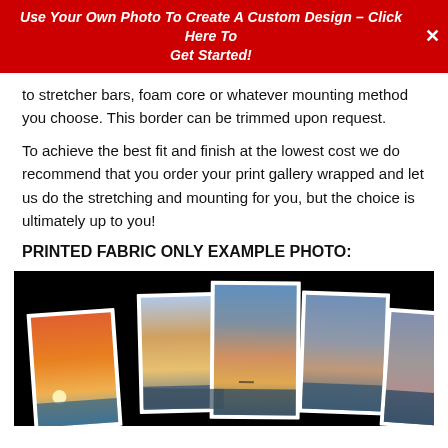Use Your Own Photo To Create A Custom Design – Click Here To Get Started!
to stretcher bars, foam core or whatever mounting method you choose. This border can be trimmed upon request.
To achieve the best fit and finish at the lowest cost we do recommend that you order your print gallery wrapped and let us do the stretching and mounting for you, but the choice is ultimately up to you!
PRINTED FABRIC ONLY EXAMPLE PHOTO:
[Figure (photo): Example photo showing five printed fabric panels fanned out against a black background, each displaying a sunset/ocean scene with gradient sky tones from orange to blue.]